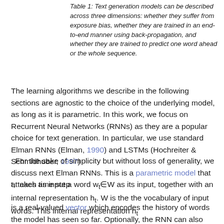Table 1: Text generation models can be described across three dimensions: whether they suffer from exposure bias, whether they are trained in an end-to-end manner using back-propagation, and whether they are trained to predict one word ahead or the whole sequence.
The learning algorithms we describe in the following sections are agnostic to the choice of the underlying model, as long as it is parametric. In this work, we focus on Recurrent Neural Networks (RNNs) as they are a popular choice for text generation. In particular, we use standard Elman RNNs (Elman, 1990) and LSTMs (Hochreiter & Schmidhuber, 1997)
. For the sake of simplicity but without loss of generality, we discuss next Elman RNNs. This is a parametric model that at each time step
t, takes as input a word w_t∈W as its input, together with an internal representation h_t. W is the the vocabulary of input words. This internal representation h_t
is a real-valued vector which encodes the history of words the model has seen so far. Optionally, the RNN can also take as input an additional context vector.